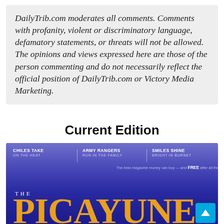DailyTrib.com moderates all comments. Comments with profanity, violent or discriminatory language, defamatory statements, or threats will not be allowed. The opinions and views expressed here are those of the person commenting and do not necessarily reflect the official position of DailyTrib.com or Victory Media Marketing.
Current Edition
[Figure (photo): Magazine cover of The Picayune with blue/purple gradient background, showing sections: CHILES TAKE ON THE HEAT, ARMY RANGERS RUN IN THE FAMILY, SMILES SHINE BRIGHT IN BURNET. Large orange title text 'THE PICAYUNE' with a scroll-to-top button.]